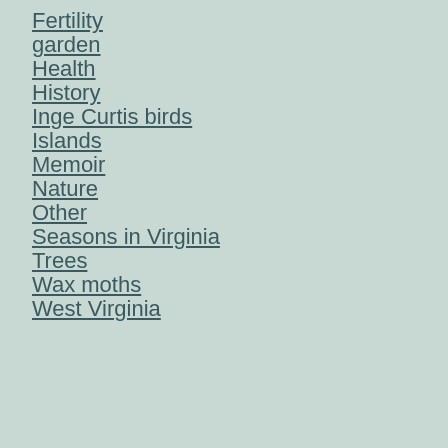Fertility
garden
Health
History
Inge Curtis birds
Islands
Memoir
Nature
Other
Seasons in Virginia
Trees
Wax moths
West Virginia